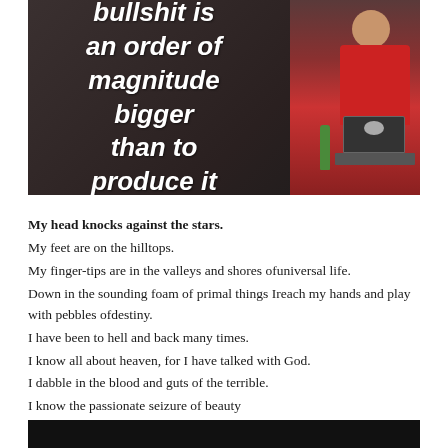[Figure (photo): A person in a red shirt presenting at a conference, standing at a podium with a laptop. Behind them is a dark projection screen displaying white bold italic text that reads: 'bullshit is an order of magnitude bigger than to produce it'. A green bottle is visible on the podium.]
My head knocks against the stars.
My feet are on the hilltops.
My finger-tips are in the valleys and shores ofuniversal life.
Down in the sounding foam of primal things Ireach my hands and play with pebbles ofdestiny.
I have been to hell and back many times.
I know all about heaven, for I have talked with God.
I dabble in the blood and guts of the terrible.
I know the passionate seizure of beauty
And the marvelous rebellion of man at all signsreading “Keep Off.”
My name is Truth and I am the most elusive captive in the universe.
[Figure (photo): Bottom strip of a dark/black photograph, partially visible at the bottom of the page.]